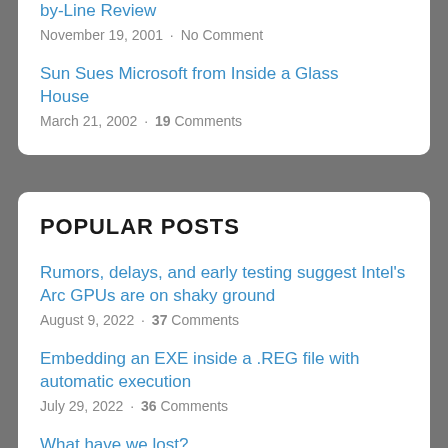by-Line Review
November 19, 2001 · No Comment
Sun Sues Microsoft from Inside a Glass House
March 21, 2002 · 19 Comments
POPULAR POSTS
Rumors, delays, and early testing suggest Intel's Arc GPUs are on shaky ground
August 9, 2022 · 37 Comments
Embedding an EXE inside a .REG file with automatic execution
July 29, 2022 · 36 Comments
What have we lost?